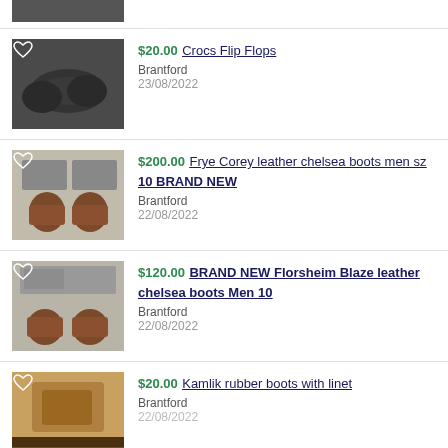[Figure (photo): Partial view of dark shoes from previous listing]
$20.00 Crocs Flip Flops
Brantford
23/08/2022
$200.00 Frye Corey leather chelsea boots men sz 10 BRAND NEW
Brantford
22/08/2022
$120.00 BRAND NEW Florsheim Blaze leather chelsea boots Men 10
Brantford
22/08/2022
$20.00 Kamlik rubber boots with linet
Brantford
22/08/2022